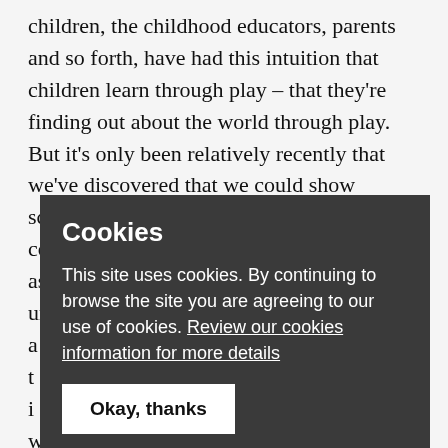children, the childhood educators, parents and so forth, have had this intuition that children learn through play – that they're finding out about the world through play. But it's only been relatively recently that we've discovered that we could show scientifically that that's true because of course it's very hard to take something that's as spontaneous and natural and unconstrained as play and a been starting t rt of amazing, i nal column this w where they s was they s on a particular a se you put a p of shape on and i one the toddlers had worked out what the abstract principle was that made the machines go. And they did it just by sitting
Cookies

This site uses cookies. By continuing to browse the site you are agreeing to our use of cookies. Review our cookies information for more details

Okay, thanks